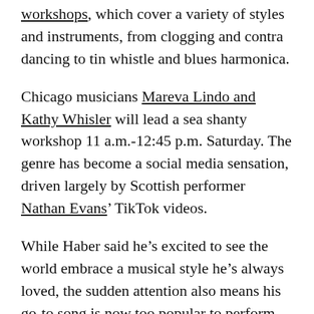workshops, which cover a variety of styles and instruments, from clogging and contra dancing to tin whistle and blues harmonica.
Chicago musicians Mareva Lindo and Kathy Whisler will lead a sea shanty workshop 11 a.m.-12:45 p.m. Saturday. The genre has become a social media sensation, driven largely by Scottish performer Nathan Evans' TikTok videos.
While Haber said he's excited to see the world embrace a musical style he's always loved, the sudden attention also means his go-to song is now too popular to perform among crowds of seasoned shanty lovers.
“It’s incredibly cool to see a passion I have go